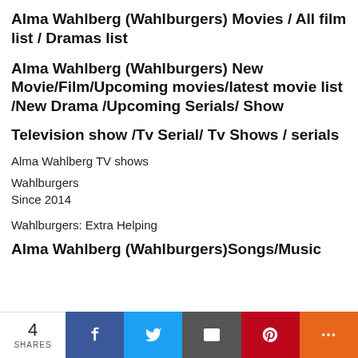Alma Wahlberg (Wahlburgers) Movies / All film list / Dramas list
Alma Wahlberg (Wahlburgers) New Movie/Film/Upcoming movies/latest movie list /New Drama /Upcoming Serials/ Show
Television show /Tv Serial/ Tv Shows / serials
Alma Wahlberg TV shows
Wahlburgers
Since 2014
Wahlburgers: Extra Helping
Alma Wahlberg (Wahlburgers)Songs/Music